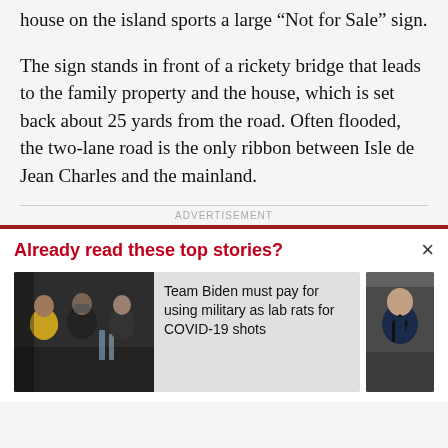house on the island sports a large “Not for Sale” sign.
The sign stands in front of a rickety bridge that leads to the family property and the house, which is set back about 25 yards from the road. Often flooded, the two-lane road is the only ribbon between Isle de Jean Charles and the mainland.
ADVERTISEMENT
Already read these top stories?
Team Biden must pay for using military as lab rats for COVID-19 shots